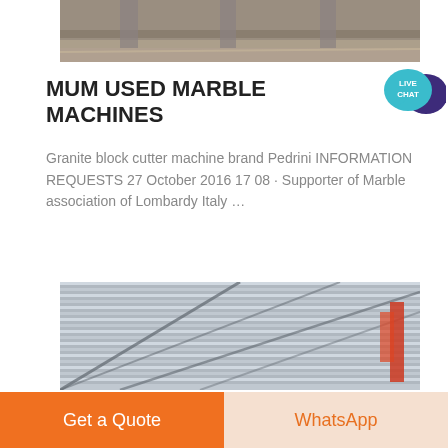[Figure (photo): Top portion of an industrial/warehouse interior with concrete columns and floor visible, cropped at top of page.]
MUM USED MARBLE MACHINES
[Figure (illustration): Live Chat badge icon — teal speech bubble with 'LIVE CHAT' text and dark purple chat bubble behind it.]
Granite block cutter machine brand Pedrini INFORMATION REQUESTS 27 October 2016 17 08 · Supporter of Marble association of Lombardy Italy …
[Figure (photo): Interior of a large industrial building showing corrugated metal roof structure with steel trusses and diagonal supports, with red equipment visible on right side.]
Get a Quote
WhatsApp